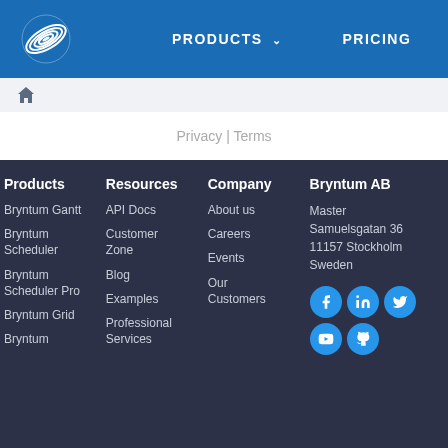PRODUCTS  PRICING
Privacy | Terms
Products
Resources
Company
Bryntum AB
Bryntum Gantt
Bryntum Scheduler
Bryntum Scheduler Pro
Bryntum Grid
Bryntum
API Docs
Customer Zone
Blog
Examples
Professional Services
About us
Careers
Events
Our Customers
Master Samuelsgatan 36 11157 Stockholm Sweden
[Figure (infographic): Social media icons: Facebook, LinkedIn, Twitter, YouTube, GitHub]